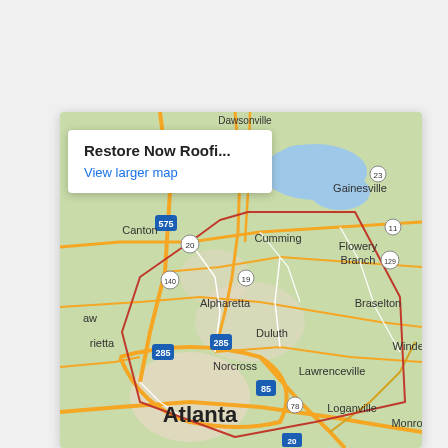[Figure (map): Google Maps screenshot showing the metro Atlanta, Georgia area with cities including Atlanta, Alpharetta, Duluth, Norcross, Lawrenceville, Gainesville, Cumming, Flowery Branch, Braselton, Loganville, Canton, and Marietta. A red polygon outlines a service area. Major highways labeled include 575, 285, 85, 78, 20, 140, 19, 23, 11, 129. A white info box overlay shows 'Restore Now Roofi...' and 'View larger map' link.]